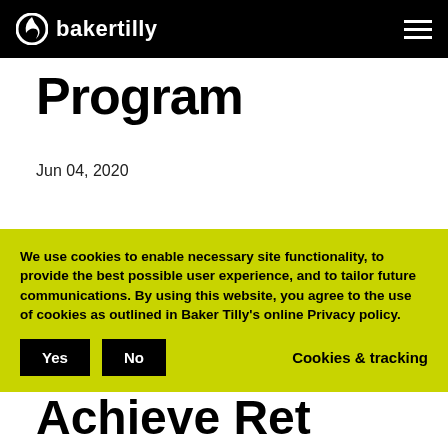bakertilly
Program
Jun 04, 2020
Share
[Figure (illustration): Social share icons: Facebook, Twitter, LinkedIn, Email]
We use cookies to enable necessary site functionality, to provide the best possible user experience, and to tailor future communications. By using this website, you agree to the use of cookies as outlined in Baker Tilly's online Privacy policy.
Yes   No   Cookies & tracking
Achieve Ret